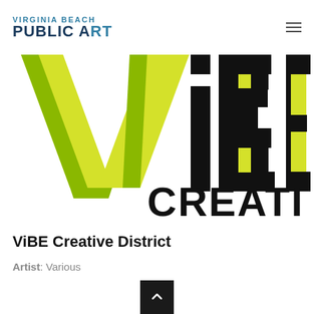VIRGINIA BEACH PUBLIC ART
[Figure (logo): ViBE Creative District logo — large stylized letters 'ViBE' in yellow-green and black with 3D geometric effect, partially cropped, with text 'CREATI' visible on the right side]
ViBE Creative District
Artist: Various